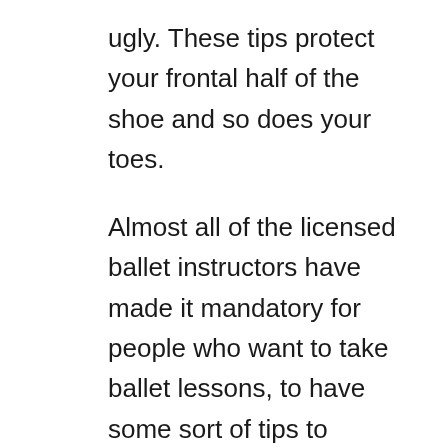ugly. These tips protect your frontal half of the shoe and so does your toes.
Almost all of the licensed ballet instructors have made it mandatory for people who want to take ballet lessons, to have some sort of tips to protect their pointe shoes and obviously the dancer itself. In reality, pointe shoes are a lot different than regular ballet slippers. These shoes are so snug that they provide little to no toe movement. Although they might feel very constricted at first as with any shoe, the break-in period is mandatory. You should not put them on and jump in your pool to speed up the break-in process, however, the